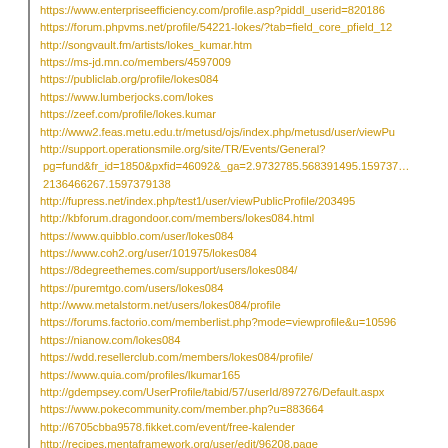https://www.enterpriseefficiency.com/profile.asp?piddl_userid=820186
https://forum.phpvms.net/profile/54221-lokes/?tab=field_core_pfield_12
http://songvault.fm/artists/lokes_kumar.htm
https://ms-jd.mn.co/members/4597009
https://publiclab.org/profile/lokes084
https://www.lumberjocks.com/lokes
https://zeef.com/profile/lokes.kumar
http://www2.feas.metu.edu.tr/metusd/ojs/index.php/metusd/user/viewPu
http://support.operationsmile.org/site/TR/Events/General?pg=fund&fr_id=1850&pxfid=46092&_ga=2.9732785.568391495.159737...2136466267.1597379138
http://fupress.net/index.php/test1/user/viewPublicProfile/203495
http://kbforum.dragondoor.com/members/lokes084.html
https://www.quibblo.com/user/lokes084
https://www.coh2.org/user/101975/lokes084
https://8degreethemes.com/support/users/lokes084/
https://puremtgo.com/users/lokes084
http://www.metalstorm.net/users/lokes084/profile
https://forums.factorio.com/memberlist.php?mode=viewprofile&u=10596
https://nianow.com/lokes084
https://wdd.resellerclub.com/members/lokes084/profile/
https://www.quia.com/profiles/lkumar165
http://gdempsey.com/UserProfile/tabid/57/userId/897276/Default.aspx
https://www.pokecommunity.com/member.php?u=883664
http://6705cbba9578.fikket.com/event/free-kalender
http://recipes.mentaframework.org/user/edit/96208.page
https://www.mytechlogy.com/lokeskumar/
https://www.caclubindia.com/profile.asp?member_id=3165315
https://www.goodreads.com/user/lokes_kumar